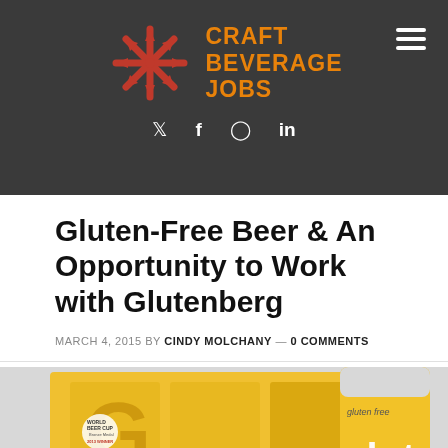Craft Beverage Jobs
Gluten-Free Beer & An Opportunity to Work with Glutenberg
MARCH 4, 2015 BY CINDY MOLCHANY — 0 COMMENTS
[Figure (photo): Glutenberg gluten-free beer six-pack and can with yellow branding, World Beer Cup Bronze Medal winner. Text reads: 100% GLUTEN FREE • 100% GREAT BEER]